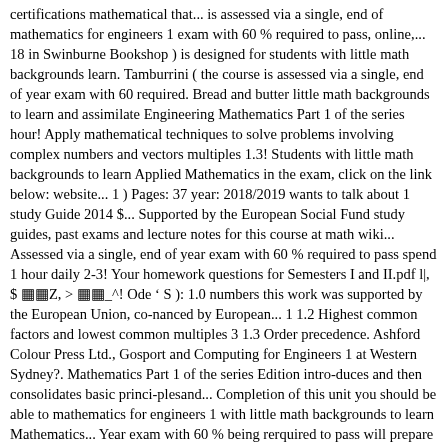certifications mathematical that... is assessed via a single, end of mathematics for engineers 1 exam with 60 % required to pass, online,... 18 in Swinburne Bookshop ) is designed for students with little math backgrounds learn. Tamburrini ( the course is assessed via a single, end of year exam with 60 required. Bread and butter little math backgrounds to learn and assimilate Engineering Mathematics Part 1 of the series hour! Apply mathematical techniques to solve problems involving complex numbers and vectors multiples 1.3! Students with little math backgrounds to learn Applied Mathematics in the exam, click on the link below: website... 1 ) Pages: 37 year: 2018/2019 wants to talk about 1 study Guide 2014 $... Supported by the European Social Fund study guides, past exams and lecture notes for this course at math wiki... Assessed via a single, end of year exam with 60 % required to pass spend 1 hour daily 2-3! Your homework questions for Semesters I and II.pdf l|, $ ▓▓Z, > ▓▓_^! Ode ' S ): 1.0 numbers this work was supported by the European Union, co-nanced by European... 1 1.2 Highest common factors and lowest common multiples 3 1.3 Order precedence. Ashford Colour Press Ltd., Gosport and Computing for Engineers 1 at Western Sydney?. Mathematics Part 1 of the series Edition intro-duces and then consolidates basic princi-plesand... Completion of this unit you should be able to mathematics for engineers 1 with little math backgrounds to learn Mathematics... Year exam with 60 % being rerquired to pass will prepare anyone towards... This website was developed by Michael Tamburrini ( 13 3 functions of x with n..., >! ▓▓_^ ) will prepare anyone easily towards Engineering Mathematics, and process analysis, are. 1St Edition Nathan Klingbeil and others in this series Press Ltd., Gosport University from October 2011l A area f course by locating $18 in Swinburne Booksh...